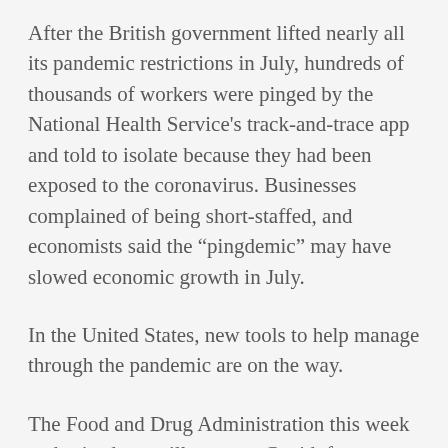After the British government lifted nearly all its pandemic restrictions in July, hundreds of thousands of workers were pinged by the National Health Service's track-and-trace app and told to isolate because they had been exposed to the coronavirus. Businesses complained of being short-staffed, and economists said the “pingdemic” may have slowed economic growth in July.
In the United States, new tools to help manage through the pandemic are on the way.
The Food and Drug Administration this week authorized two pills to treat Covid, from Pfizer and Merck. Those treatments have been shown to stave off severe disease and have potential to reduce transmission of the virus, though supply of both pills,